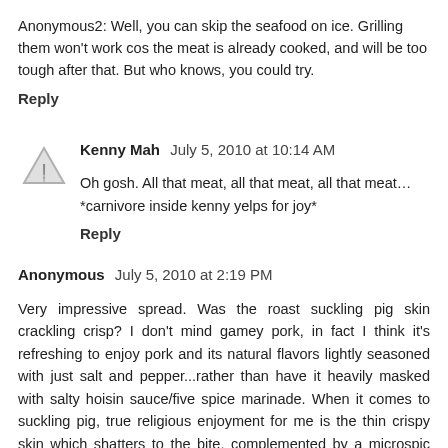Anonymous2: Well, you can skip the seafood on ice. Grilling them won't work cos the meat is already cooked, and will be too tough after that. But who knows, you could try.
Reply
Kenny Mah  July 5, 2010 at 10:14 AM
Oh gosh. All that meat, all that meat, all that meat… *carnivore inside kenny yelps for joy*
Reply
Anonymous  July 5, 2010 at 2:19 PM
Very impressive spread. Was the roast suckling pig skin crackling crisp? I don't mind gamey pork, in fact I think it's refreshing to enjoy pork and its natural flavors lightly seasoned with just salt and pepper...rather than have it heavily masked with salty hoisin sauce/five spice marinade. When it comes to suckling pig, true religious enjoyment for me is the thin crispy skin which shatters to the bite, complemented by a microspic thin layer of gelatinous fat (or